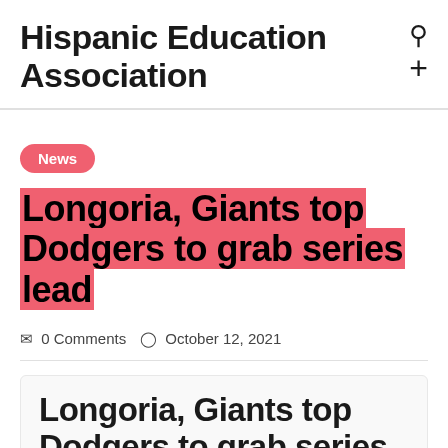Hispanic Education Association
News
Longoria, Giants top Dodgers to grab series lead
0 Comments   October 12, 2021
Longoria, Giants top Dodgers to grab series